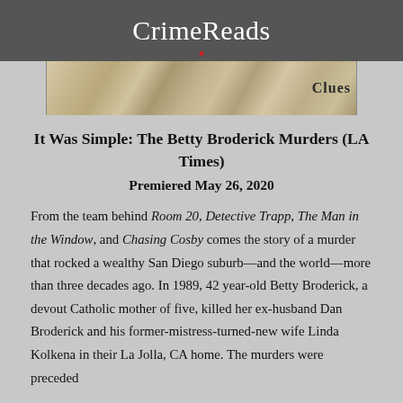CrimeReads
[Figure (illustration): Partial view of a book cover with floral/botanical illustration pattern and text 'Clues' visible on the right side]
It Was Simple: The Betty Broderick Murders (LA Times)
Premiered May 26, 2020
From the team behind Room 20, Detective Trapp, The Man in the Window, and Chasing Cosby comes the story of a murder that rocked a wealthy San Diego suburb—and the world—more than three decades ago. In 1989, 42 year-old Betty Broderick, a devout Catholic mother of five, killed her ex-husband Dan Broderick and his former-mistress-turned-new wife Linda Kolkena in their La Jolla, CA home. The murders were preceded